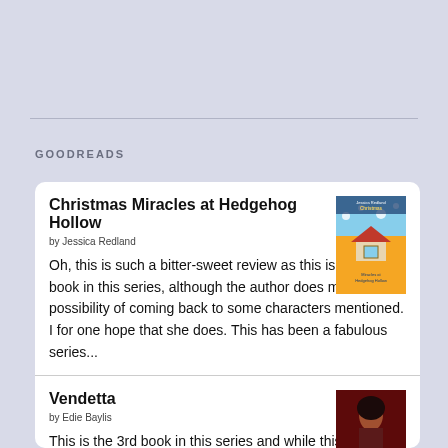GOODREADS
Christmas Miracles at Hedgehog Hollow
by Jessica Redland
Oh, this is such a bitter-sweet review as this is the final book in this series, although the author does mention the possibility of coming back to some characters mentioned. I for one hope that she does. This has been a fabulous series...
Vendetta
by Edie Baylis
This is the 3rd book in this series and while this could be read as a stand-alone book, I would suggest you read the series in order. There are several characters in this series